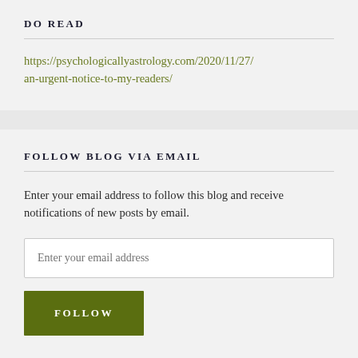DO READ
https://psychologicallyastrology.com/2020/11/27/an-urgent-notice-to-my-readers/
FOLLOW BLOG VIA EMAIL
Enter your email address to follow this blog and receive notifications of new posts by email.
Enter your email address
FOLLOW